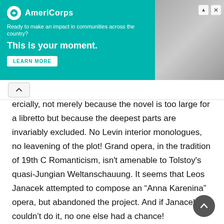[Figure (other): AmeriCorps advertisement banner. Teal/green background with AmeriCorps logo, text 'Ready to make an impact in communities across the country? This is your moment.' with a LEARN MORE button, and a photo of a person on the right side. Close and skip controls in upper right.]
ercially, not merely because the novel is too large for a libretto but because the deepest parts are invariably excluded. No Levin interior monologues, no leavening of the plot! Grand opera, in the tradition of 19th C Romanticism, isn't amenable to Tolstoy's quasi-Jungian Weltanschauung. It seems that Leos Janacek attempted to compose an “Anna Karenina” opera, but abandoned the project. And if Janacek couldn’t do it, no one else had a chance!
I’m not a scholar of Russian literature. I haven't read the preface to this translation, or any biography of Tolstoy, or a single essay about “Anna Karenina”, but I’m convinced that Levin is Tolstoy’s spiritual self-portrait, and his prefiguration of the course his own life would take. I also have to confess, sadly, that I can’t read a word of Russian. This great novel exists for